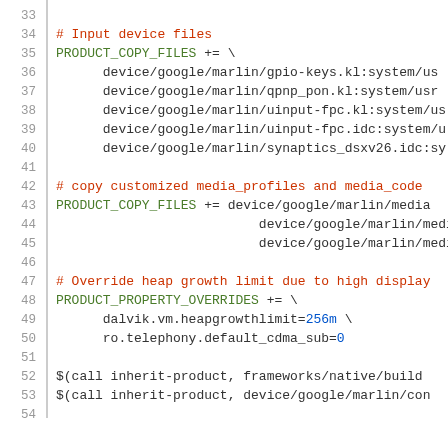Code listing lines 33-54 showing Android makefile (device/google/marlin) with PRODUCT_COPY_FILES for input device files, media profiles, and PRODUCT_PROPERTY_OVERRIDES with heap growth limit settings, plus inherit-product calls.